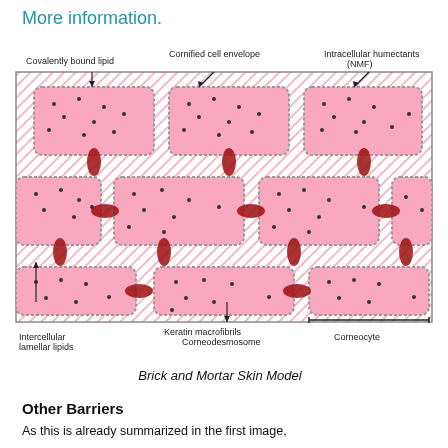More information.
[Figure (illustration): Brick and Mortar Skin Model diagram showing corneocytes (pink rectangular bricks) arranged in a staggered pattern within intercellular lamellar lipids (pink hatched mortar). Labels indicate: Covalently bound lipid, Cornified cell envelope, Intracellular humectants (NMF), Intercellular lamellar lipids, Corneodesmosome, Keratin macrofibrils, Corneocyte.]
Brick and Mortar Skin Model
Other Barriers
As this is already summarized in the first image,